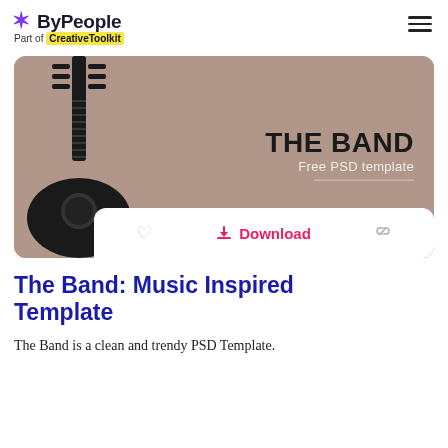ByPeople — Part of CreativeToolkit
[Figure (screenshot): Product card preview showing 'The Band: Free PSD template' with a guitar image on a tan/mocha background, and action buttons (heart, Download, link) at the bottom]
The Band: Music Inspired Template
The Band is a clean and trendy PSD Template.